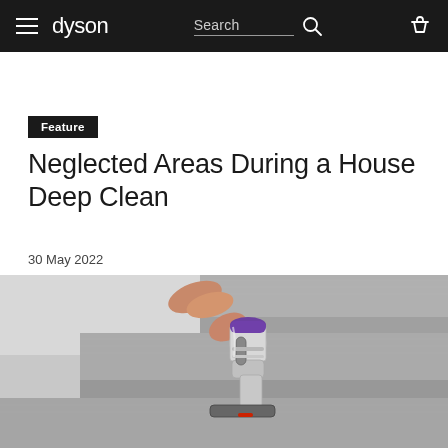dyson — Search — [navigation icons]
Feature
Neglected Areas During a House Deep Clean
30 May 2022
[Figure (photo): A hand holding a Dyson cordless vacuum cleaner being used to clean grey carpeted stairs. The vacuum is silver and purple, shown at an angle against the stair surface.]